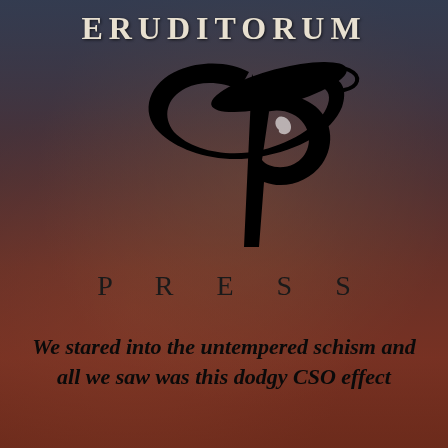ERUDITORUM
[Figure (logo): Eruditorum Press stylized 'EP' logo — a large sweeping italic calligraphic monogram with a curved C-shape and a P with extended flourish, all in black]
PRESS
We stared into the untempered schism and all we saw was this dodgy CSO effect